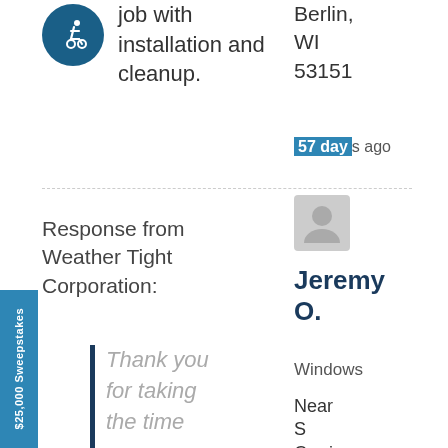job with installation and cleanup.
Berlin, WI 53151
57 days ago
[Figure (illustration): Wheelchair accessibility icon in white on dark blue circle]
[Figure (illustration): Generic user avatar silhouette in gray square]
Jeremy O.
Response from Weather Tight Corporation:
Windows
Near S Carriage Ln,
Thank you for taking the time